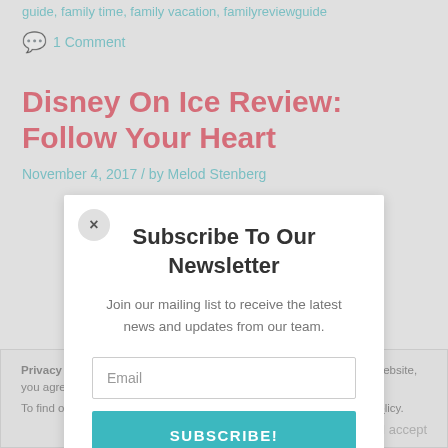guide, family time, family vacation, familyreviewguide
1 Comment
Disney On Ice Review: Follow Your Heart
November 4, 2017 / by Melod Stenberg
[Figure (screenshot): Newsletter subscription modal overlay with close button (x), title 'Subscribe To Our Newsletter', body text 'Join our mailing list to receive the latest news and updates from our team.', an Email input field, and a SUBSCRIBE! button in teal.]
Privacy & Cookies: This site uses cookies. By continuing to use this website, you agree to their use. To find out more, including how to control cookies, see here: Privacy Policy.
Close and accept